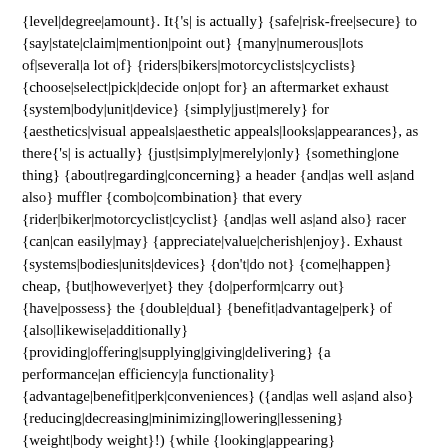{level|degree|amount}. It{'s| is actually} {safe|risk-free|secure} to {say|state|claim|mention|point out} {many|numerous|lots of|several|a lot of} {riders|bikers|motorcyclists|cyclists} {choose|select|pick|decide on|opt for} an aftermarket exhaust {system|body|unit|device} {simply|just|merely} for {aesthetics|visual appeals|aesthetic appeals|looks|appearances}, as there{'s| is actually} {just|simply|merely|only} {something|one thing} {about|regarding|concerning} a header {and|as well as|and also} muffler {combo|combination} that every {rider|biker|motorcyclist|cyclist} {and|as well as|and also} racer {can|can easily|may} {appreciate|value|cherish|enjoy}. Exhaust {systems|bodies|units|devices} {don't|do not} {come|happen} cheap, {but|however|yet} they {do|perform|carry out} {have|possess} the {double|dual} {benefit|advantage|perk} of {also|likewise|additionally} {providing|offering|supplying|giving|delivering} {a performance|an efficiency|a functionality} {advantage|benefit|perk|conveniences} ({and|as well as|and also} {reducing|decreasing|minimizing|lowering|lessening} {weight|body weight}!) {while {looking|appearing} {pretty|quite|rather|fairly} {cool|awesome|amazing|great|trendy} {as well|also|too|at the same time}.|While {looking|appearing} {pretty|quite|rather|fairly} {cool|awesome|amazing|great|trendy}.}
Bling {bits|little bits|littles}: There is {actually|really|in fact} {a